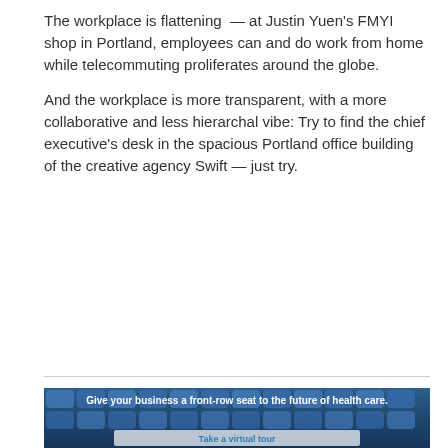The workplace is flattening — at Justin Yuen's FMYI shop in Portland, employees can and do work from home while telecommuting proliferates around the globe.
And the workplace is more transparent, with a more collaborative and less hierarchal vibe: Try to find the chief executive's desk in the spacious Portland office building of the creative agency Swift — just try.
[Figure (infographic): Advertisement banner showing blue theater seats with white bold text reading 'Give your business a front-row seat to the future of health care.' and a light gray button at the bottom with blue text reading 'Take a virtual tour'.]